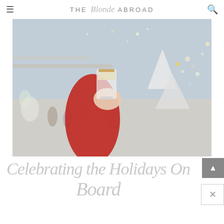THE Blonde ABROAD
[Figure (photo): A hand in a red sweater holding a glass of eggnog or cream drink with a busy, festively decorated department store in the background with Christmas trees and ornaments.]
Celebrating the Holidays On Board